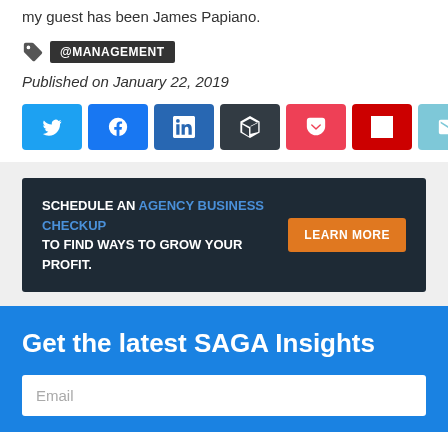my guest has been James Papiano.
@MANAGEMENT
Published on January 22, 2019
[Figure (infographic): Social media share buttons: Twitter, Facebook, LinkedIn, Buffer, Pocket, Flipboard, Email]
[Figure (infographic): Advertisement banner: SCHEDULE AN AGENCY BUSINESS CHECKUP TO FIND WAYS TO GROW YOUR PROFIT. LEARN MORE button.]
Get the latest SAGA Insights
Email